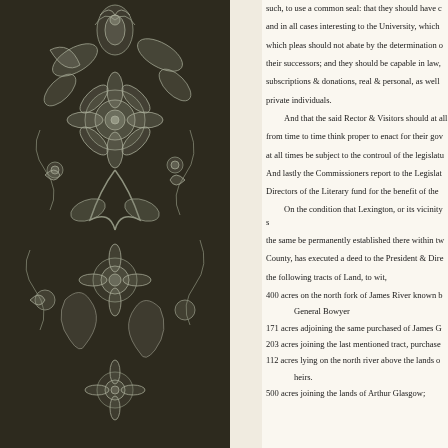[Figure (illustration): Decorative dark olive/brown background with white floral and paisley pattern on the left portion of the page]
such, to use a common seal: that they should have capacity to sue and be sued, and in all cases interesting to the University, which pleas should not abate by the determination of their successors; and they should be capable in law, subscriptions & donations, real & personal, as well private individuals.
And that the said Rector & Visitors should at all from time to time think proper to enact for their gov at all times be subject to the controul of the legislatu And lastly the Commissioners report to the Legislat Directors of the Literary fund for the benefit of the
On the condition that Lexington, or its vicinity s the same be permanently established there within tw County, has executed a deed to the President & Dire the following tracts of Land, to wit,
400 acres on the north fork of James River known b
General Bowyer
171 acres adjoining the same purchased of James G
203 acres joining the last mentioned tract, purchase
112 acres lying on the north river above the lands o heirs.
500 acres joining the lands of Arthur Glasgow,